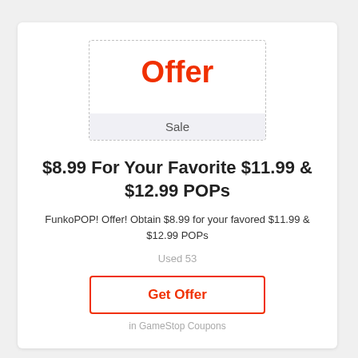[Figure (other): Dashed-border box with bold orange 'Offer' text at top and a light gray 'Sale' bar at bottom]
$8.99 For Your Favorite $11.99 & $12.99 POPs
FunkoPOP! Offer! Obtain $8.99 for your favored $11.99 & $12.99 POPs
Used 53
Get Offer
in GameStop Coupons